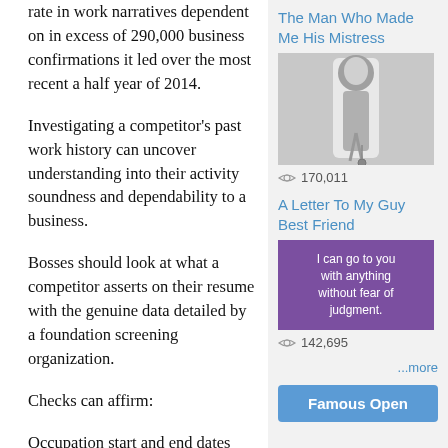rate in work narratives dependent on in excess of 290,000 business confirmations it led over the most recent a half year of 2014.
Investigating a competitor's past work history can uncover understanding into their activity soundness and dependability to a business.
Bosses should look at what a competitor asserts on their resume with the genuine data detailed by a foundation screening organization.
Checks can affirm:
Occupation start and end dates
The Man Who Made Me His Mistress
[Figure (photo): Black and white photo of a person's legs raised in the air, holding a key on a chain]
170,011
A Letter To My Guy Best Friend
[Figure (photo): Purple/teal background image with text: I can go to you with anything without fear of judgment.]
142,695
...more
Famous Open